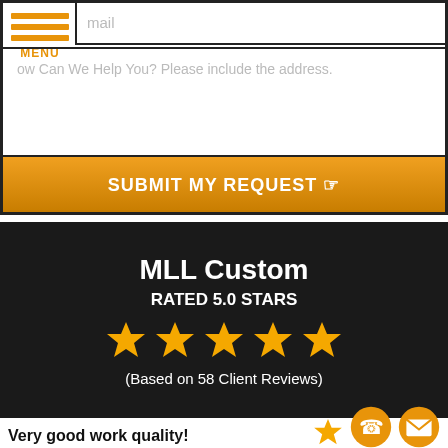[Figure (screenshot): Partially visible web form with menu icon, email input field, message textarea with placeholder 'How Can We Help You? Please include the address.', and orange SUBMIT MY REQUEST button]
MENU
mail
How Can We Help You? Please include the address.
SUBMIT MY REQUEST
MLL Custom
RATED 5.0 STARS
[Figure (infographic): Five golden star icons representing a 5-star rating]
(Based on 58 Client Reviews)
Client Review
Very good work quality!
[Figure (infographic): Orange phone icon and orange email/envelope icon, plus partial gold star icon at bottom right]